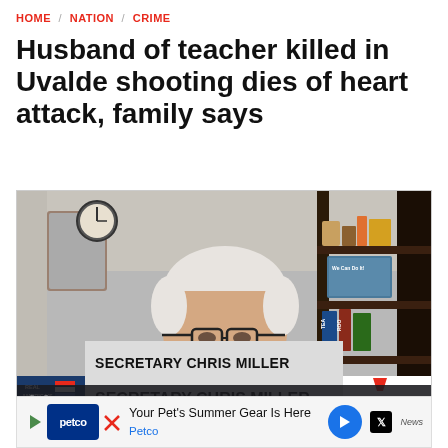HOME / NATION / CRIME
Husband of teacher killed in Uvalde shooting dies of heart attack, family says
[Figure (screenshot): Video screenshot of a man (Secretary Chris Miller) in a dark blazer and glasses, seated in front of a bookshelf. A lower-third graphic reads 'SECRETARY CHRIS MILLER' with Real America's Voice and Just the News logos.]
SECRETARY CHRIS MILLER